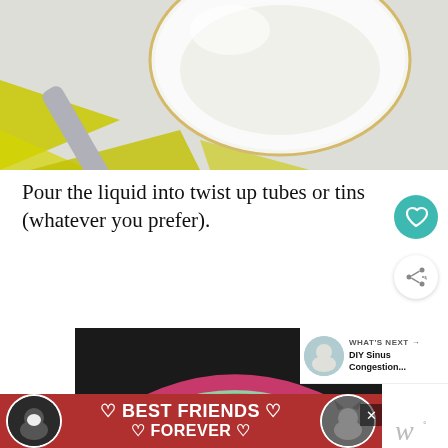[Figure (photo): Close-up photo of a white bowl with a silver spoon on a yellow and white patterned surface, containing a light-colored liquid]
Pour the liquid into twist up tubes or tins (whatever you prefer).
[Figure (photo): Photo of colorful chalk art on dark pavement showing a rainbow arc with pink and green chalk]
[Figure (photo): Advertisement banner: BEST FRIENDS FOREVER with cats on red background]
WHAT'S NEXT → DIY Sinus Congestion...